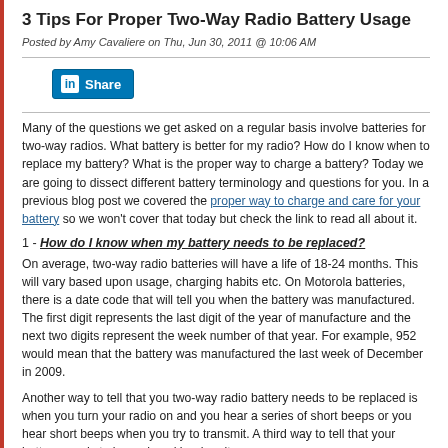3 Tips For Proper Two-Way Radio Battery Usage
Posted by Amy Cavaliere on Thu, Jun 30, 2011 @ 10:06 AM
[Figure (other): LinkedIn Share button]
Many of the questions we get asked on a regular basis involve batteries for two-way radios. What battery is better for my radio? How do I know when to replace my battery? What is the proper way to charge a battery? Today we are going to dissect different battery terminology and questions for you. In a previous blog post we covered the proper way to charge and care for your battery so we won't cover that today but check the link to read all about it.
1 - How do I know when my battery needs to be replaced?
On average, two-way radio batteries will have a life of 18-24 months. This will vary based upon usage, charging habits etc. On Motorola batteries, there is a date code that will tell you when the battery was manufactured. The first digit represents the last digit of the year of manufacture and the next two digits represent the week number of that year. For example, 952 would mean that the battery was manufactured the last week of December in 2009.
Another way to tell that you two-way radio battery needs to be replaced is when you turn your radio on and you hear a series of short beeps or you hear short beeps when you try to transmit. A third way to tell that your battery needs to be replaced is when it